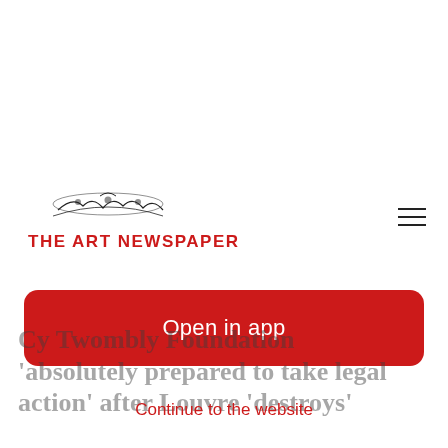[Figure (logo): The Art Newspaper logo with illustrated masthead image above red bold text reading THE ART NEWSPAPER]
[Figure (other): Hamburger menu icon (three horizontal lines) in top right corner]
[Figure (other): Red rounded rectangle button with white text: Open in app]
Cy Twombly Foundation 'absolutely prepared to take legal action' after Louvre 'destroys'
Continue to the website